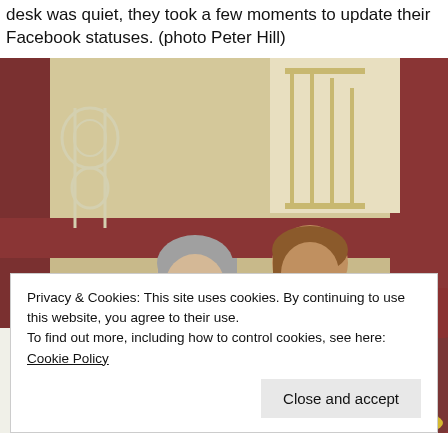desk was quiet, they took a few moments to update their Facebook statuses. (photo Peter Hill)
[Figure (photo): Two middle-aged women sitting on a red/brown sofa in what appears to be a restaurant or hotel lounge, both looking down at their smartphones. The woman on the left wears a yellow t-shirt and has gray hair and glasses. The woman on the right wears a patterned blue-gray top, has brown hair and glasses. The background shows decorative ironwork railing, stairs, and warm-colored walls.]
Privacy & Cookies: This site uses cookies. By continuing to use this website, you agree to their use.
To find out more, including how to control cookies, see here: Cookie Policy
Close and accept